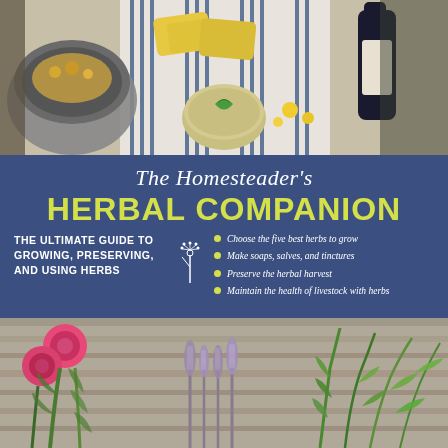[Figure (photo): Top photo showing herbal products: mortar with dried flowers, yellow soap bars on striped cloth, green salve tin with mint leaf, yellow flowers, dark glass bottle with label]
The Homesteader's HERBAL COMPANION
THE ULTIMATE GUIDE TO GROWING, PRESERVING, AND USING HERBS
Choose the five best herbs to grow
Make soaps, salves, and tinctures
Preserve the herbal harvest
Maintain the health of livestock with herbs
[Figure (photo): Bottom photo showing fresh herbs and flowers on rustic wood: bright pink zinnia flowers, dried lavender bunches, fresh green basil or mint sprigs]